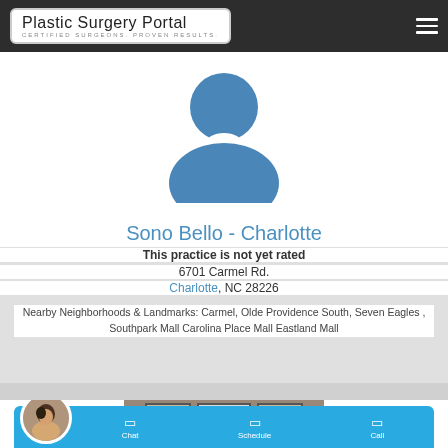Plastic Surgery Portal — CERTIFIED SURGEONS. PROVEN RESULTS.
[Figure (illustration): Generic user profile silhouette icon in blue on white background]
Sono Bello - Charlotte
This practice is not yet rated
6701 Carmel Rd.
Charlotte, NC 28226
Nearby Neighborhoods & Landmarks: Carmel, Olde Providence South, Seven Eagles , Southpark Mall Carolina Place Mall Eastland Mall
[Figure (photo): Partial photo of framed certificates on wall, partially obscured by action bar overlay. Action bar shows circular avatar photo of a woman with dark hair, and three action buttons: Chat, Schedule, Call on a light blue background.]